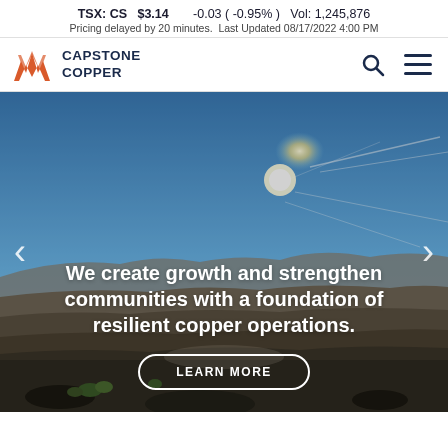TSX: CS  $3.14   -0.03 ( -0.95% )  Vol: 1,245,876
Pricing delayed by 20 minutes. Last Updated 08/17/2022 4:00 PM
[Figure (logo): Capstone Copper logo with orange/red angular W-shaped chevron icon and bold dark blue text CAPSTONE COPPER]
[Figure (photo): Open pit copper mine under bright blue sky with sun, dramatic landscape with terraced rock walls and sparse vegetation in foreground. White overlay text reads: We create growth and strengthen communities with a foundation of resilient copper operations. A LEARN MORE button is at the bottom center.]